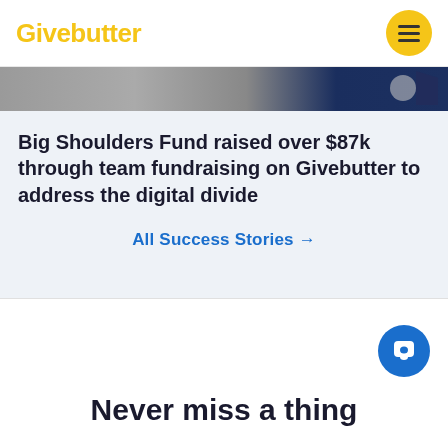Givebutter
[Figure (photo): Partial cropped image showing faces/people with dark blue background on the right side]
Big Shoulders Fund raised over $87k through team fundraising on Givebutter to address the digital divide
All Success Stories →
Never miss a thing